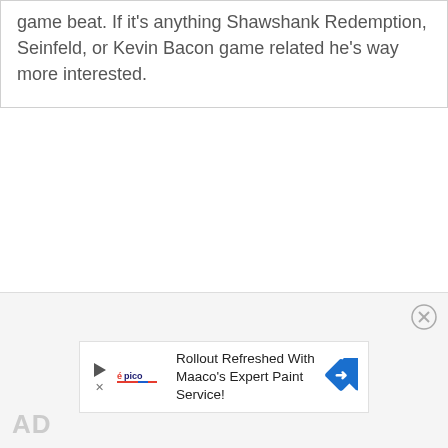game beat. If it's anything Shawshank Redemption, Seinfeld, or Kevin Bacon game related he's way more interested.
[Figure (screenshot): Advertisement banner: Rollout Refreshed With Maaco's Expert Paint Service! with Épico logo and navigation arrow icon, plus a close button (X in circle) and AD label in bottom left]